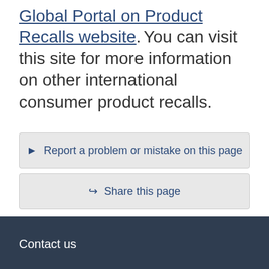Global Portal on Product Recalls website. You can visit this site for more information on other international consumer product recalls.
▶ Report a problem or mistake on this page
↪ Share this page
Date modified: 2015-08-05
Contact us